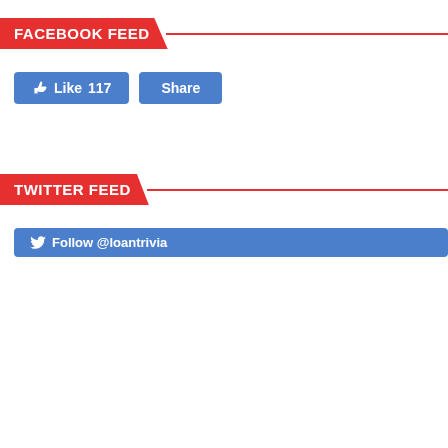FACEBOOK FEED
[Figure (screenshot): Facebook Like (117) and Share buttons in blue]
TWITTER FEED
[Figure (screenshot): Follow @loantrivia button and tweet card showing Loan Trivia @loantrivia · Aug 19 tweet: I just posted "Choose What Is Right For You Banks Vs NBFCs For Personal Loans" on Reddit]